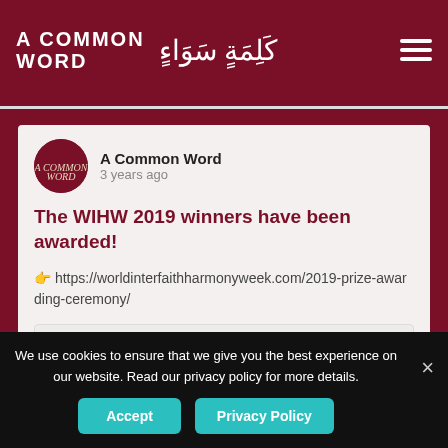A Common Word
A Common Word
3 years ago
The WIHW 2019 winners have been awarded!
👉 https://worldinterfaithharmonyweek.com/2019-prize-awarding-ceremony/
2019 Prize-Awarding Ceremony
worldinterfaithharmonyweek.com
We use cookies to ensure that we give you the best experience on our website. Read our privacy policy for more details.